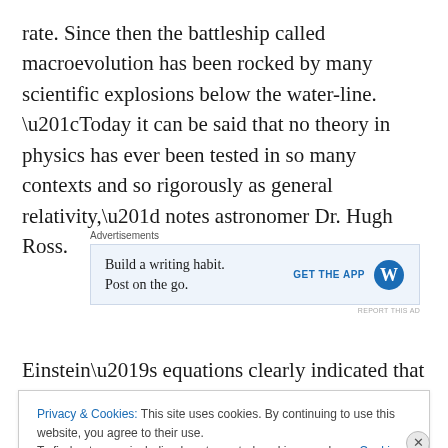rate. Since then the battleship called macroevolution has been rocked by many scientific explosions below the water-line. “Today it can be said that no theory in physics has ever been tested in so many contexts and so rigorously as general relativity,” notes astronomer Dr. Hugh Ross.
[Figure (screenshot): Advertisement block: 'Advertisements' label above a light blue ad for WordPress app. Text: 'Build a writing habit. Post on the go.' with 'GET THE APP' button and WordPress logo. 'REPORT THIS AD' link below.]
Einstein’s equations clearly indicated that the universe had
Privacy & Cookies: This site uses cookies. By continuing to use this website, you agree to their use.
To find out more, including how to control cookies, see here: Cookie Policy
Close and accept